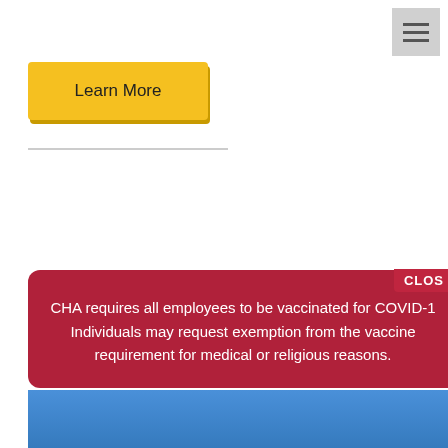[Figure (other): Hamburger menu icon button (three horizontal lines) in gray square, top right corner]
Learn More
CHA requires all employees to be vaccinated for COVID-1… Individuals may request exemption from the vaccine requirement for medical or religious reasons.
[Figure (photo): Partial view of a building exterior with blue sky and trees at the bottom of the page]